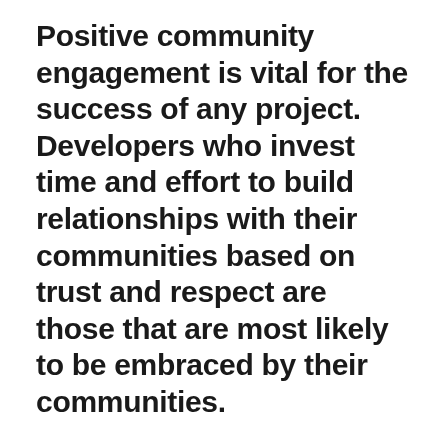Positive community engagement is vital for the success of any project. Developers who invest time and effort to build relationships with their communities based on trust and respect are those that are most likely to be embraced by their communities.
The Clean Energy Council works with the industry to continually promote best practice and has developed the following guides and a Best Practice Charter.